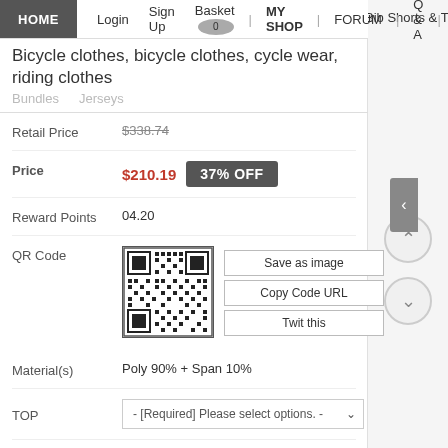HOME | Login | Sign Up | Basket 0 | MY SHOP | FORUM | Q & A
Bicycle clothes, bicycle clothes, cycle wear, riding clothes
Bundles   Jerseys   Bib Shorts & Ti
Retail Price  $338.74
Price  $210.19  37% OFF
Reward Points  04.20
[Figure (other): QR code image for the product page]
QR Code  Save as image  Copy Code URL  Twit this
Material(s)  Poly 90% + Span 10%
TOP  - [Required] Please select options. -
BUY NOW  ADD TO CART  WISH LIST